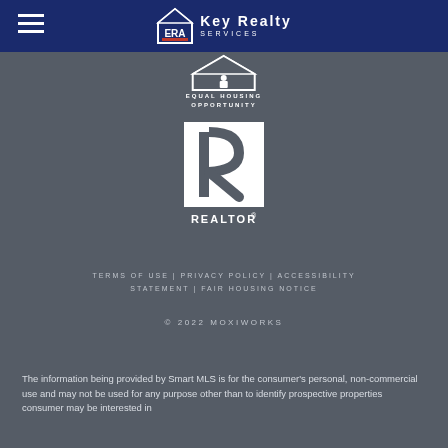ERA Key Realty Services
[Figure (logo): Equal Housing Opportunity logo with horizontal bar and text EQUAL HOUSING OPPORTUNITY]
[Figure (logo): REALTOR logo - stylized R in a square box with REALTOR text below]
TERMS OF USE | PRIVACY POLICY | ACCESSIBILITY STATEMENT | FAIR HOUSING NOTICE
© 2022 MOXIWORKS
The information being provided by Smart MLS is for the consumer's personal, non-commercial use and may not be used for any purpose other than to identify prospective properties consumer may be interested in